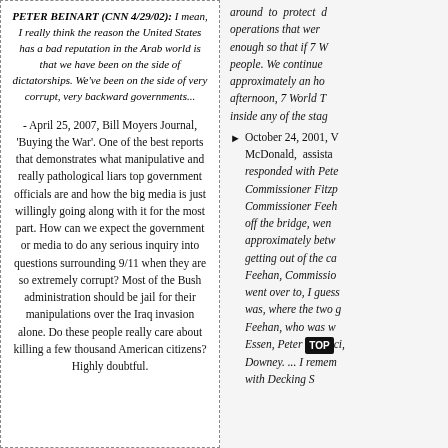PETER BEINART (CNN 4/29/02): I mean, I really think the reason the United States has a bad reputation in the Arab world is that we have been on the side of dictatorships. We've been on the side of very corrupt, very backward governments...
- April 25, 2007, Bill Moyers Journal, 'Buying the War'. One of the best reports that demonstrates what manipulative and really pathological liars top government officials are and how the big media is just willingly going along with it for the most part. How can we expect the government or media to do any serious inquiry into questions surrounding 9/11 when they are so extremely corrupt? Most of the Bush administration should be jail for their manipulations over the Iraq invasion alone. Do these people really care about killing a few thousand American citizens? Highly doubtful.
around to protect operations that were enough so that if 7 people. We continued approximately an hour afternoon, 7 World Trade inside any of the stag October 24, 2001, McDonald, assistant responded with Peter Commissioner Fitzpatrick Commissioner Feehan off the bridge, went approximately between getting out of the car Feehan, Commissioner went over to, I guess was, where the two Feehan, who was with Essen, Peter Acci, Downey. ... I remember with Decking S